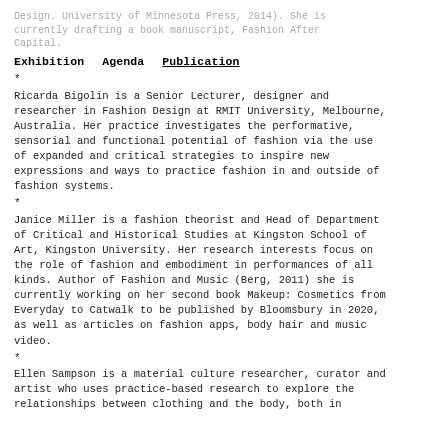Design. University of Minnesota Press, 2014). She is currently drafting a book manuscript, Fashion After Capital.
*
Ricarda Bigolin is a Senior Lecturer, designer and researcher in Fashion Design at RMIT University, Melbourne, Australia. Her practice investigates the performative, sensorial and functional potential of fashion via the use of expanded and critical strategies to inspire new expressions and ways to practice fashion in and outside of fashion systems.
*
Janice Miller is a fashion theorist and Head of Department of Critical and Historical Studies at Kingston School of Art, Kingston University. Her research interests focus on the role of fashion and embodiment in performances of all kinds. Author of Fashion and Music (Berg, 2011) she is currently working on her second book Makeup: Cosmetics from Everyday to Catwalk to be published by Bloomsbury in 2020, as well as articles on fashion apps, body hair and music video.
*
Ellen Sampson is a material culture researcher, curator and artist who uses practice-based research to explore the relationships between clothing and the body, both in